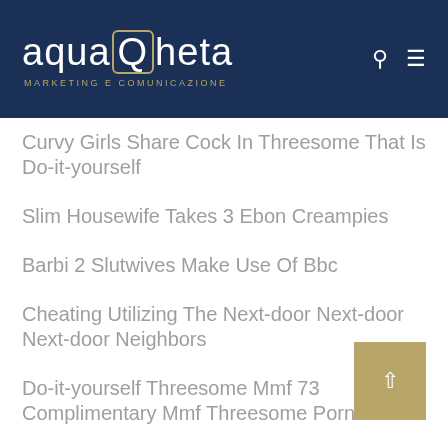aquaQheta MARKETING E COMUNICAZIONE
Curvy Girls Share Cock In Threesome That Is Do-it-yourself
Slim Housewife Takes 3 Ebon Creampies
Barbi 2 Slutwives Make Use Of Bbc
Cheating Utilizing The Next-door Next-door Next-door Neighbors
Do-it-yourself Threesome Mmf 73 Complimentary Mmf Threesome Porn